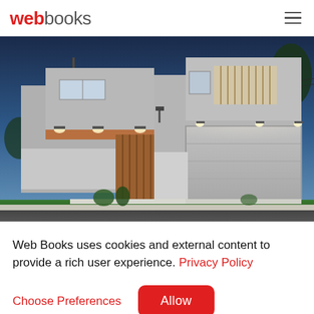webbooks
[Figure (photo): Modern two-story house with grey render facade, garage door, timber gate, and landscaped garden photographed at dusk with interior lights on]
Web Books uses cookies and external content to provide a rich user experience. Privacy Policy
Choose Preferences  Allow